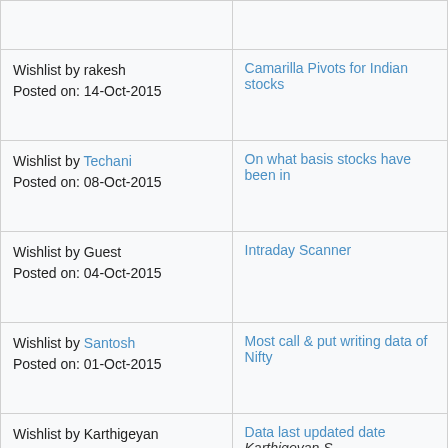| Wishlist info | Item |
| --- | --- |
|  |  |
| Wishlist by rakesh
Posted on: 14-Oct-2015 | Camarilla Pivots for Indian stocks |
| Wishlist by Techani
Posted on: 08-Oct-2015 | On what basis stocks have been in... |
| Wishlist by Guest
Posted on: 04-Oct-2015 | Intraday Scanner |
| Wishlist by Santosh
Posted on: 01-Oct-2015 | Most call & put writing data of Nifty... |
| Wishlist by Karthigeyan
Posted on: 30-Sep-2015 | Data last updated date
Karthigeyan S |
| Wishlist by HARI
Posted on: 26-Sep-2015 | HeikenAshi candlesticks chart with... |
|  |  |